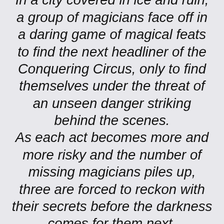In a city covered in ice and ruin, a group of magicians face off in a daring game of magical feats to find the next headliner of the Conquering Circus, only to find themselves under the threat of an unseen danger striking behind the scenes.
As each act becomes more and more risky and the number of missing magicians piles up, three are forced to reckon with their secrets before the darkness comes for them next.